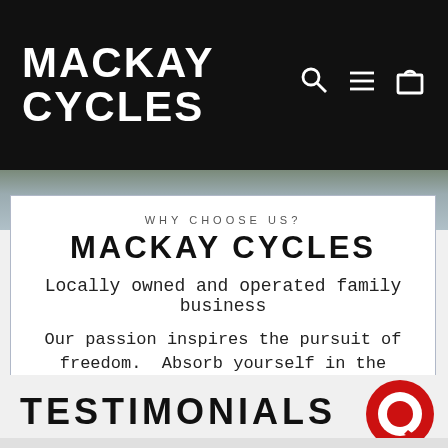MACKAY CYCLES
WHY CHOOSE US?
MACKAY CYCLES
Locally owned and operated family business
Our passion inspires the pursuit of freedom. Absorb yourself in the ultimate cycling destination
TESTIMONIALS